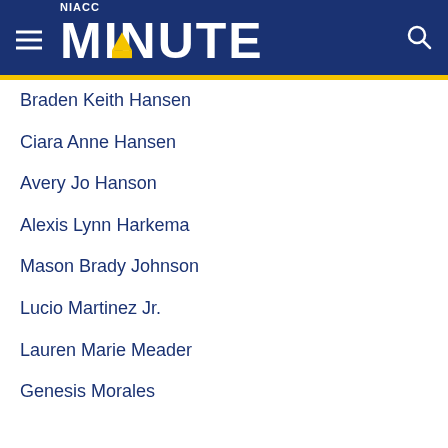NIACC MINUTE
Braden Keith Hansen
Ciara Anne Hansen
Avery Jo Hanson
Alexis Lynn Harkema
Mason Brady Johnson
Lucio Martinez Jr.
Lauren Marie Meader
Genesis Morales